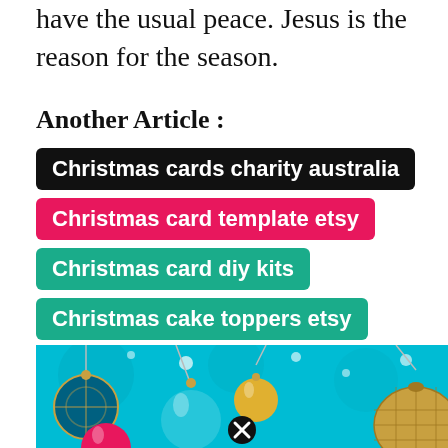have the usual peace. Jesus is the reason for the season.
Another Article :
Christmas cards charity australia
Christmas card template etsy
Christmas card diy kits
Christmas cake toppers etsy
Christmas card designs for kids
[Figure (illustration): Decorative Christmas ornaments banner image with teal/turquoise background, gold and teal baubles hanging, with a close button icon]